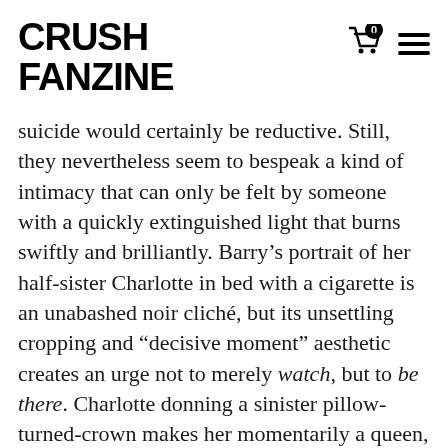CRUSH FANZINE
suicide would certainly be reductive. Still, they nevertheless seem to bespeak a kind of intimacy that can only be felt by someone with a quickly extinguished light that burns swiftly and brilliantly. Barry’s portrait of her half-sister Charlotte in bed with a cigarette is an unabashed noir cliché, but its unsettling cropping and “decisive moment” aesthetic creates an urge not to merely watch, but to be there. Charlotte donning a sinister pillow-turned-crown makes her momentarily a queen, even in her state of dishevelment. Consider also the strange windowpanes that visually extend from Charlotte’s